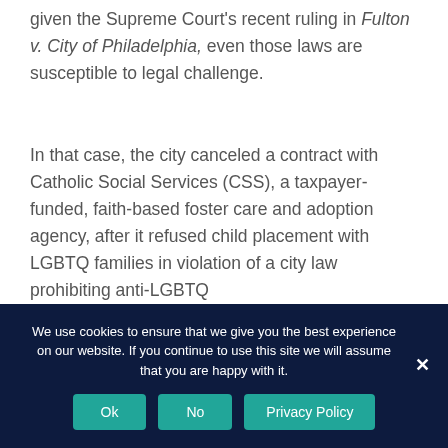given the Supreme Court's recent ruling in Fulton v. City of Philadelphia, even those laws are susceptible to legal challenge.
In that case, the city canceled a contract with Catholic Social Services (CSS), a taxpayer-funded, faith-based foster care and adoption agency, after it refused child placement with LGBTQ families in violation of a city law prohibiting anti-LGBTQ
We use cookies to ensure that we give you the best experience on our website. If you continue to use this site we will assume that you are happy with it.